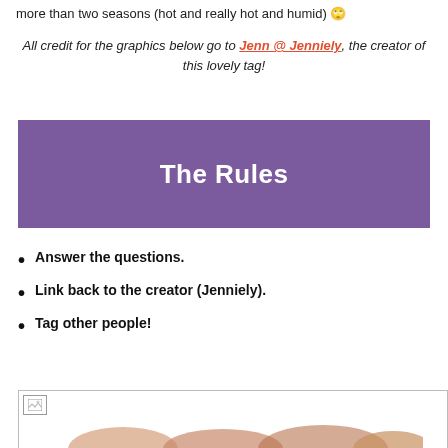more than two seasons (hot and really hot and humid) 🙄
All credit for the graphics below go to Jenn @ Jenniely, the creator of this lovely tag!
[Figure (other): Purple banner with white bold text reading 'The Rules']
Answer the questions.
Link back to the creator (Jenniely).
Tag other people!
[Figure (photo): Partial image of animals, appears to be the bottom portion cut off]